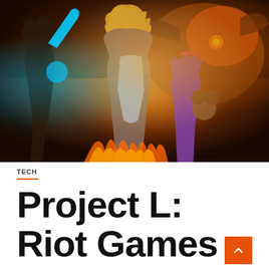[Figure (illustration): Colorful video game artwork showing three fantasy/action characters: a dark-skinned character with white mohawk holding a glowing cyan weapon on the left, a blonde female warrior in armor in the center, and a small purple-haired girl with a teddy bear on the right. A large orange monster creature looms in the background. The scene is set in a fiery, dramatic environment.]
TECH
Project L: Riot Games enters fighting games